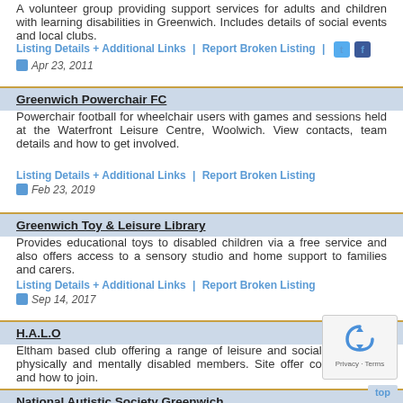A volunteer group providing support services for adults and children with learning disabilities in Greenwich. Includes details of social events and local clubs.
Listing Details + Additional Links | Report Broken Listing | [Twitter] [Facebook]
Apr 23, 2011
Greenwich Powerchair FC
Powerchair football for wheelchair users with games and sessions held at the Waterfront Leisure Centre, Woolwich. View contacts, team details and how to get involved.
Listing Details + Additional Links | Report Broken Listing
Feb 23, 2019
Greenwich Toy & Leisure Library
Provides educational toys to disabled children via a free service and also offers access to a sensory studio and home support to families and carers.
Listing Details + Additional Links | Report Broken Listing
Sep 14, 2017
H.A.L.O
Eltham based club offering a range of leisure and social activities to physically and mentally disabled members. Site offer contact details and how to join.
Listing Details + Additional Links | Report Broken Listing
Apr 22, 2011
National Autistic Society Greenwich